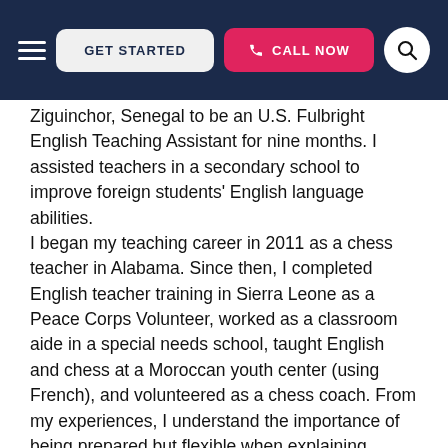GET STARTED | CALL NOW
Ziguinchor, Senegal to be an U.S. Fulbright English Teaching Assistant for nine months. I assisted teachers in a secondary school to improve foreign students' English language abilities.
I began my teaching career in 2011 as a chess teacher in Alabama. Since then, I completed English teacher training in Sierra Leone as a Peace Corps Volunteer, worked as a classroom aide in a special needs school, taught English and chess at a Moroccan youth center (using French), and volunteered as a chess coach. From my experiences, I understand the importance of being prepared but flexible when explaining concepts. I love to engage students by doing hands-on and engaging